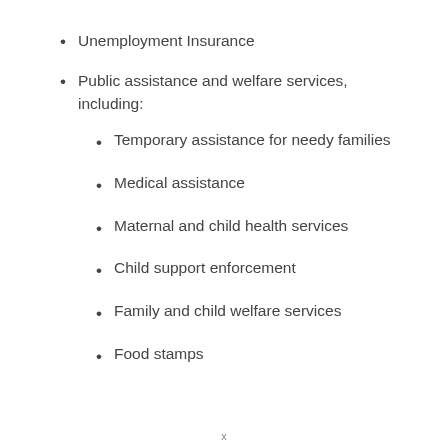Unemployment Insurance
Public assistance and welfare services, including:
Temporary assistance for needy families
Medical assistance
Maternal and child health services
Child support enforcement
Family and child welfare services
Food stamps